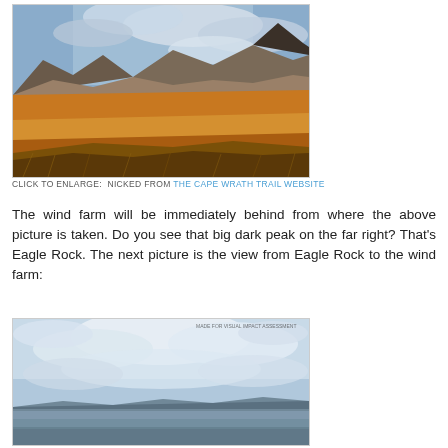[Figure (photo): Landscape photograph of a highland valley with amber moorland, mountains in the background, and a cloudy sky. Nicked from the Cape Wrath Trail website.]
CLICK TO ENLARGE:  NICKED FROM THE CAPE WRATH TRAIL WEBSITE
The wind farm will be immediately behind from where the above picture is taken. Do you see that big dark peak on the far right? That's Eagle Rock. The next picture is the view from Eagle Rock to the wind farm:
[Figure (photo): Sky and distant landscape photograph made for Visual Impact Assessment, showing a wide sky with clouds and a distant dark treeline/hills on the horizon.]